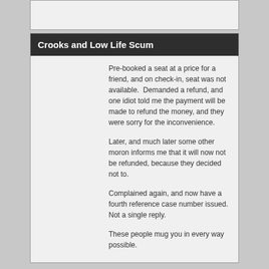Crooks and Low Life Scum
Pre-booked a seat at a price for a friend, and on check-in, seat was not available.  Demanded a refund, and one idiot told me the payment will be made to refund the money, and they were sorry for the inconvenience.
Later, and much later some other moron informs me that it will now not be refunded, because they decided not to.
Complained again, and now have a fourth reference case number issued. Not a single reply.
These people mug you in every way possible.